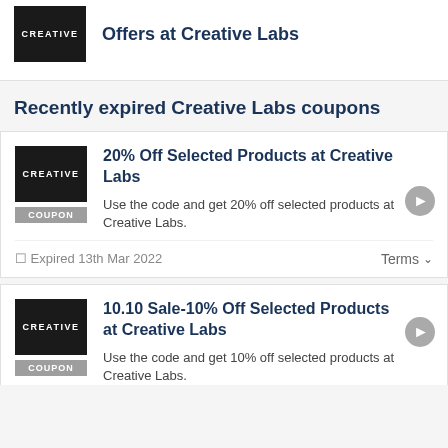[Figure (logo): Creative Labs black logo square]
Offers at Creative Labs
Recently expired Creative Labs coupons
[Figure (logo): Creative Labs black logo square]
20% Off Selected Products at Creative Labs
Use the code and get 20% off selected products at Creative Labs.
Expired 13th Mar 2022
Terms
[Figure (logo): Creative Labs black logo square]
10.10 Sale-10% Off Selected Products at Creative Labs
Use the code and get 10% off selected products at Creative Labs.